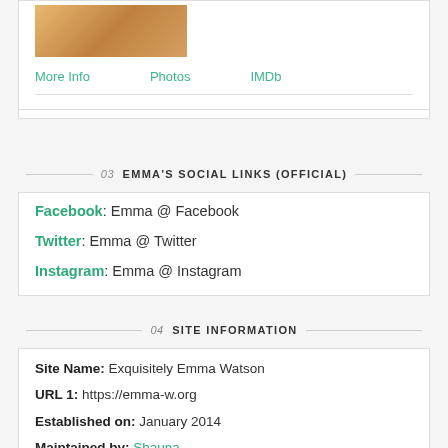[Figure (photo): Partial photo of a person, cropped at top]
More Info    Photos    IMDb
03 EMMA'S SOCIAL LINKS (OFFICIAL)
Facebook: Emma @ Facebook
Twitter: Emma @ Twitter
Instagram: Emma @ Instagram
04 SITE INFORMATION
Site Name: Exquisitely Emma Watson
URL 1: https://emma-w.org
Established on: January 2014
Maintained by: Shauna